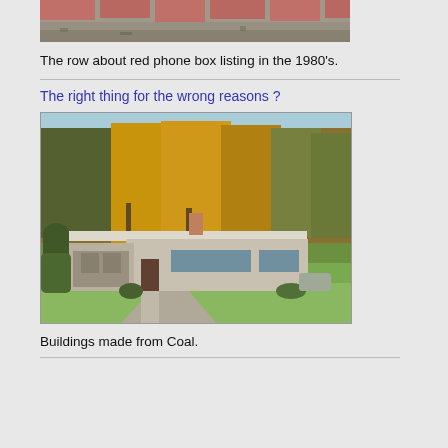[Figure (photo): Top portion of a photo showing a row of buildings/streetscape from the 1980s, partially cropped at top]
The row about red phone box listing in the 1980's.
The right thing for the wrong reasons ?
[Figure (photo): A mid-century ranch style house with a two-car garage, set against a backdrop of autumn trees with orange and yellow foliage, with a lawn and driveway in front]
Buildings made from Coal.